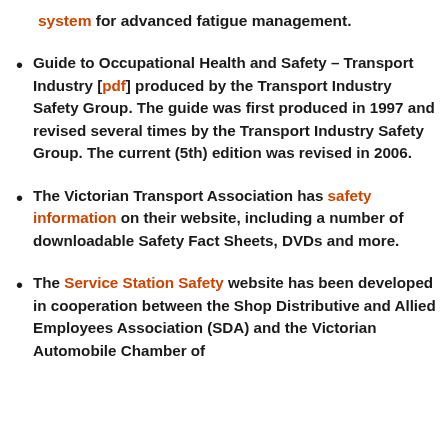system for advanced fatigue management.
Guide to Occupational Health and Safety – Transport Industry [pdf] produced by the Transport Industry Safety Group. The guide was first produced in 1997 and revised several times by the Transport Industry Safety Group. The current (5th) edition was revised in 2006.
The Victorian Transport Association has safety information on their website, including a number of downloadable Safety Fact Sheets, DVDs and more.
The Service Station Safety website has been developed in cooperation between the Shop Distributive and Allied Employees Association (SDA) and the Victorian Automobile Chamber of